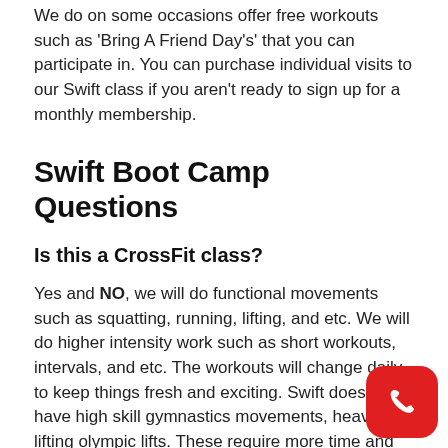We do on some occasions offer free workouts such as 'Bring A Friend Day's' that you can participate in. You can purchase individual visits to our Swift class if you aren't ready to sign up for a monthly membership.
Swift Boot Camp Questions
Is this a CrossFit class?
Yes and NO, we will do functional movements such as squatting, running, lifting, and etc. We will do higher intensity work such as short workouts, intervals, and etc. The workouts will change daily to keep things fresh and exciting. Swift does not have high skill gymnastics movements, heavy lifting olympic lifts. These require more time and we looking to get a fast and effective workout done.
[Figure (other): Red phone call button icon in bottom right corner]